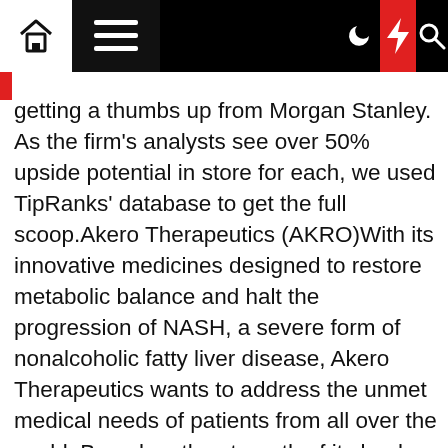[Navigation bar with home, menu, dark mode, lightning, and search icons]
getting a thumbs up from Morgan Stanley. As the firm's analysts see over 50% upside potential in store for each, we used TipRanks' database to get the full scoop.Akero Therapeutics (AKRO)With its innovative medicines designed to restore metabolic balance and halt the progression of NASH, a severe form of nonalcoholic fatty liver disease, Akero Therapeutics wants to address the unmet medical needs of patients from all over the world. Based on the strength of its lead candidate, Morgan Stanley is pounding the table.Representing the firm, 5-star analyst Matthew Harrison tells clients that AKRO's treatment for NASH, efruxifermin (EFX), has a “best-in-class profile.”  EFX is the company's lead asset and was designed to mimic the biological activity of fibroblast growth factor 21 (FGF21), which regulates multiple metabolic pathways and cellular processes,